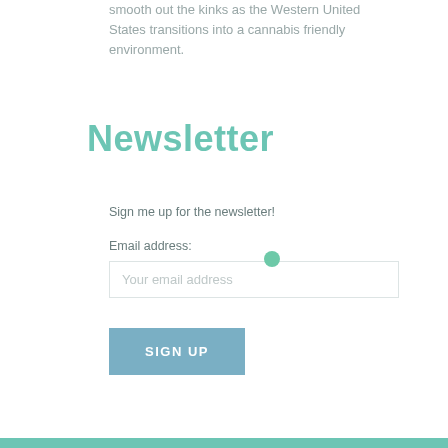smooth out the kinks as the Western United States transitions into a cannabis friendly environment.
Newsletter
Sign me up for the newsletter!
Email address:
Your email address
SIGN UP